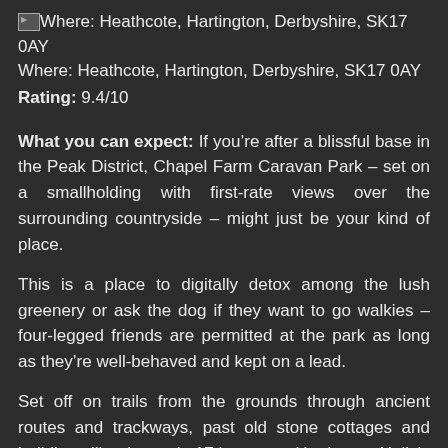[Figure (photo): Small broken image icon placeholder]
Where: Heathcote, Hartington, Derbyshire, SK17 0AY
Rating: 9.4/10
What you can expect: If you’re after a blissful base in the Peak District, Chapel Farm Caravan Park – set on a smallholding with first-rate views over the surrounding countryside – might just be your kind of place.
This is a place to digitally detox among the lush greenery or ask the dog if they want to go walkies – four-legged friends are permitted at the park as long as they’re well-behaved and kept on a lead.
Set off on trails from the grounds through ancient routes and trackways, past old stone cottages and buildings like the early 17th-century Hartington Hall (a mile) and Charles Cotton Hotel (a mile and a half).
Reasons to visit: (partial, cut off at bottom)